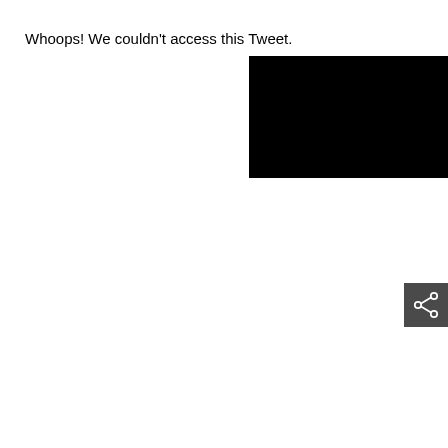Whoops! We couldn't access this Tweet.
[Figure (screenshot): Black rectangle representing an inaccessible embedded tweet or media area]
[Figure (other): Dark grey share button icon with a network/share symbol (three connected circles) in white]